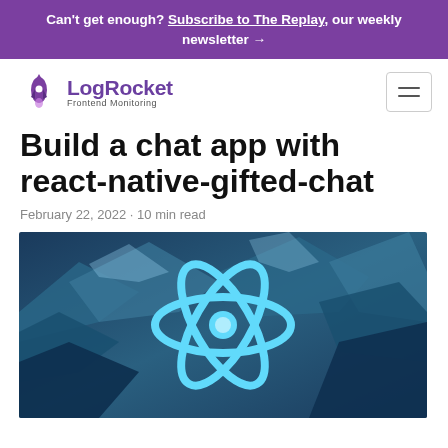Can't get enough? Subscribe to The Replay, our weekly newsletter →
[Figure (logo): LogRocket Frontend Monitoring logo with rocket icon in purple]
Build a chat app with react-native-gifted-chat
February 22, 2022 · 10 min read
[Figure (photo): Hero image showing blue React logo on a blue/teal icy mountain background]